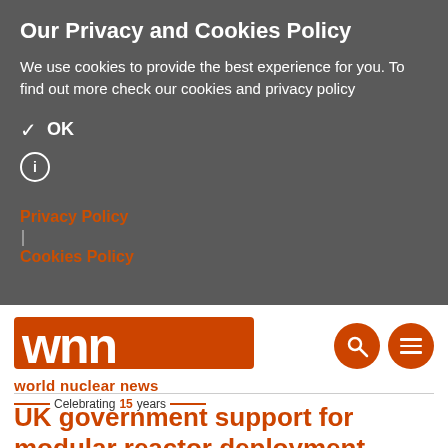Our Privacy and Cookies Policy
We use cookies to provide the best experience for you. To find out more check our cookies and privacy policy
✓ OK
ℹ
Privacy Policy
Cookies Policy
[Figure (logo): World Nuclear News logo — 'wnn' in large white letters on orange background, with 'world nuclear news' below and 'Celebrating 15 years' tagline. Two orange circle icons (search and menu) in the top right.]
UK government support for modular reactor deployment